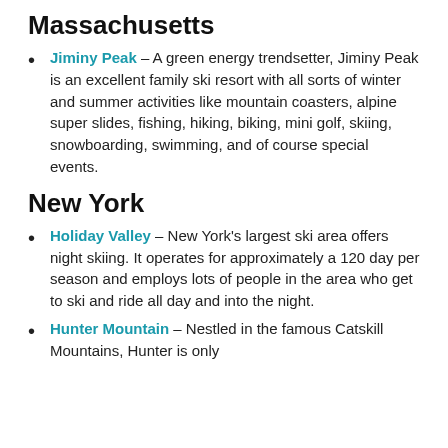Massachusetts
Jiminy Peak – A green energy trendsetter, Jiminy Peak is an excellent family ski resort with all sorts of winter and summer activities like mountain coasters, alpine super slides, fishing, hiking, biking, mini golf, skiing, snowboarding, swimming, and of course special events.
New York
Holiday Valley – New York's largest ski area offers night skiing. It operates for approximately a 120 day per season and employs lots of people in the area who get to ski and ride all day and into the night.
Hunter Mountain – Nestled in the famous Catskill Mountains, Hunter is only